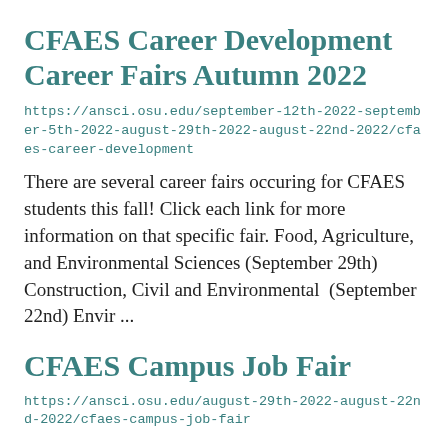CFAES Career Development Career Fairs Autumn 2022
https://ansci.osu.edu/september-12th-2022-september-5th-2022-august-29th-2022-august-22nd-2022/cfaes-career-development
There are several career fairs occuring for CFAES students this fall! Click each link for more information on that specific fair. Food, Agriculture, and Environmental Sciences (September 29th) Construction, Civil and Environmental (September 22nd) Envir ...
CFAES Campus Job Fair
https://ansci.osu.edu/august-29th-2022-august-22nd-2022/cfaes-campus-job-fair